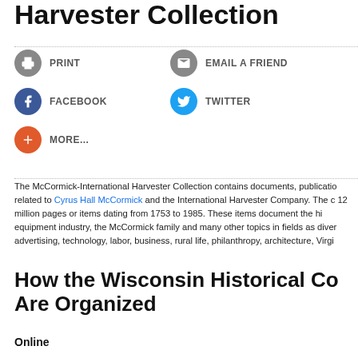Harvester Collection
PRINT
EMAIL A FRIEND
FACEBOOK
TWITTER
MORE...
The McCormick-International Harvester Collection contains documents, publications related to Cyrus Hall McCormick and the International Harvester Company. The collection includes 12 million pages or items dating from 1753 to 1985. These items document the history of the equipment industry, the McCormick family and many other topics in fields as diverse as advertising, technology, labor, business, rural life, philanthropy, architecture, Virginia...
How the Wisconsin Historical Co Are Organized
Online